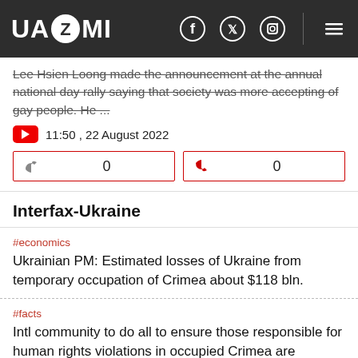UAZMI
Lee Hsien Loong made the announcement at the annual national day rally saying that society was more accepting of gay people. He ...
11:50 , 22 August 2022
0  0
Interfax-Ukraine
#economics
Ukrainian PM: Estimated losses of Ukraine from temporary occupation of Crimea about $118 bln.
#facts
Intl community to do all to ensure those responsible for human rights violations in occupied Crimea are punished – EC President.